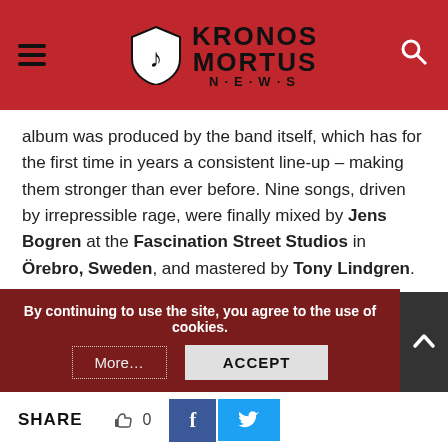KRONOS MORTUS NEWS
album was produced by the band itself, which has for the first time in years a consistent line-up – making them stronger than ever before. Nine songs, driven by irrepressible rage, were finally mixed by Jens Bogren at the Fascination Street Studios in Örebro, Sweden, and mastered by Tony Lindgren.
More information coming soon – stay tuned.
www.suicidalangels.com | www.facebook.com/SuicidalAngels | www.noiseart.eu
By continuing to use the site, you agree to the use of cookies.
SHARE  0  f  t